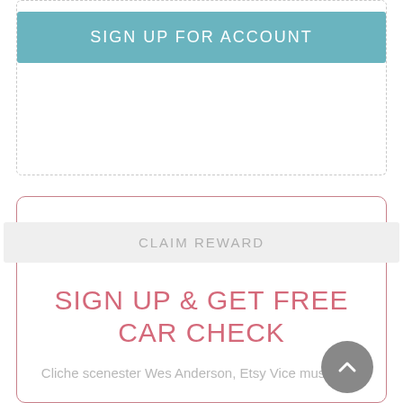[Figure (screenshot): Sign up for account button in teal/blue color inside dashed border box]
[Figure (screenshot): Claim reward card with pink border containing claim reward button, title 'SIGN UP & GET FREE CAR CHECK', description text, wrench icon, and scroll-to-top button]